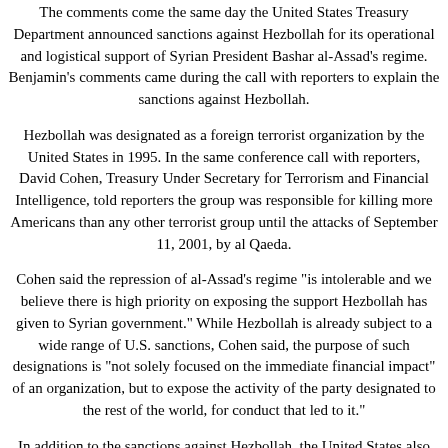The comments come the same day the United States Treasury Department announced sanctions against Hezbollah for its operational and logistical support of Syrian President Bashar al-Assad's regime. Benjamin's comments came during the call with reporters to explain the sanctions against Hezbollah.
Hezbollah was designated as a foreign terrorist organization by the United States in 1995. In the same conference call with reporters, David Cohen, Treasury Under Secretary for Terrorism and Financial Intelligence, told reporters the group was responsible for killing more Americans than any other terrorist group until the attacks of September 11, 2001, by al Qaeda.
Cohen said the repression of al-Assad's regime "is intolerable and we believe there is high priority on exposing the support Hezbollah has given to Syrian government." While Hezbollah is already subject to a wide range of U.S. sanctions, Cohen said, the purpose of such designations is "not solely focused on the immediate financial impact" of an organization, but to expose the activity of the party designated to the rest of the world, for conduct that led to it."
In addition to the sanctions against Hezbollah, the United States also imposed sanctions on Syria's state-run oil company Friday for conducting business with Iran's energy sector the State Department announced.